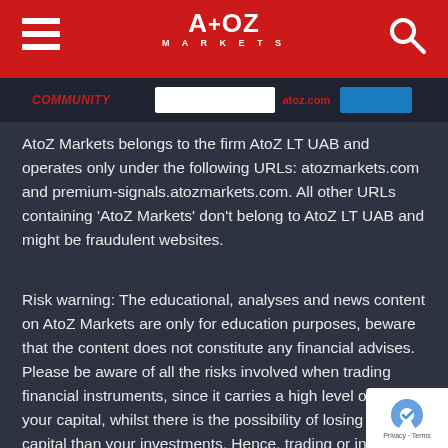[Figure (logo): AtoZ Markets logo with hamburger menu and search icon on red header bar]
AtoZ Markets belongs to the firm AtoZ LT UAB and operates only under the following URLs: atozmarkets.com and premium-signals.atozmarkets.com. All other URLs containing 'AtoZ Markets' don't belong to AtoZ LT UAB and might be fraudulent websites.
Risk warning: The educational, analyses and news content on AtoZ Markets are only for education purposes, beware that the content does not constitute any financial advises. Please be aware of all the risks involved when trading financial instruments, since it carries a high level of risk to your capital, whilst there is the possibility of losing more capital than your investments. Hence, trading or investing in financial instruments is not suitable for all persons, and it